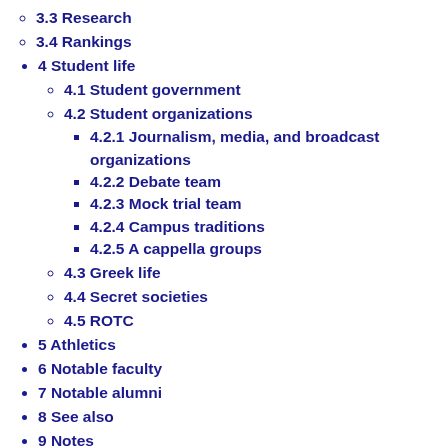3.3 Research
3.4 Rankings
4 Student life
4.1 Student government
4.2 Student organizations
4.2.1 Journalism, media, and broadcast organizations
4.2.2 Debate team
4.2.3 Mock trial team
4.2.4 Campus traditions
4.2.5 A cappella groups
4.3 Greek life
4.4 Secret societies
4.5 ROTC
5 Athletics
6 Notable faculty
7 Notable alumni
8 See also
9 Notes
10 References
11 Further reading